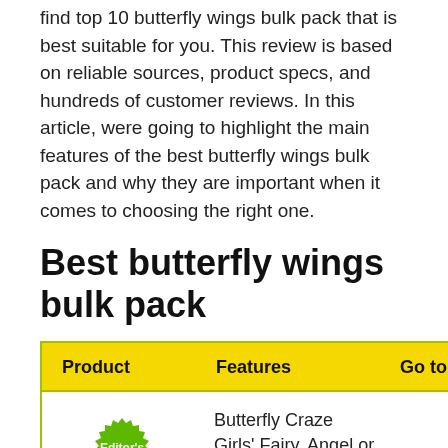find top 10 butterfly wings bulk pack that is best suitable for you. This review is based on reliable sources, product specs, and hundreds of customer reviews. In this article, were going to highlight the main features of the best butterfly wings bulk pack and why they are important when it comes to choosing the right one.
Best butterfly wings bulk pack
| Product | Features | Go to site |
| --- | --- | --- |
| Editor's choice | Butterfly Craze Girls' Fairy, Angel or Butterfly |  |